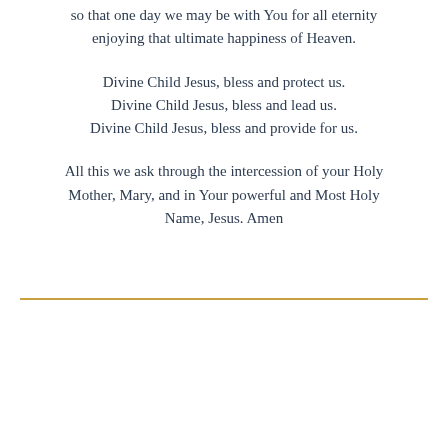so that one day we may be with You for all eternity enjoying that ultimate happiness of Heaven.
Divine Child Jesus, bless and protect us.
Divine Child Jesus, bless and lead us.
Divine Child Jesus, bless and provide for us.
All this we ask through the intercession of your Holy Mother, Mary, and in Your powerful and Most Holy Name, Jesus. Amen